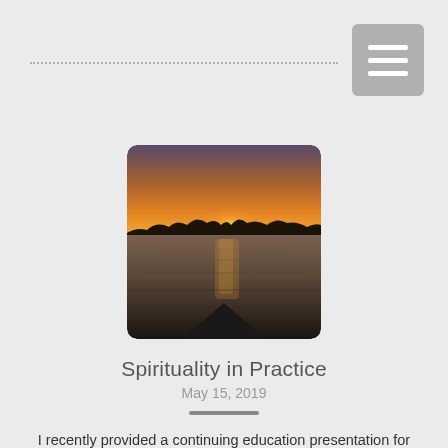[Figure (photo): Sunset over water with silhouette of a boat bow in the foreground, orange and purple sky reflected on the water surface.]
Spirituality in Practice
May 15, 2019
I recently provided a continuing education presentation for other Licensed Clinical Social Workers in this area. It was a privilege to be